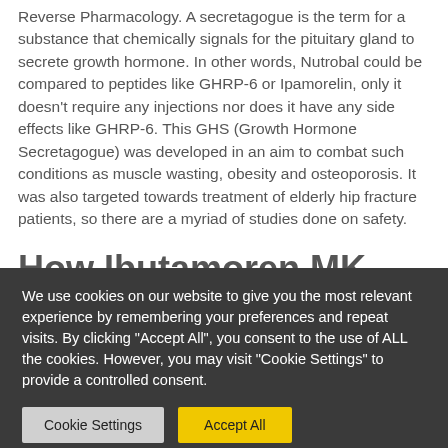Reverse Pharmacology. A secretagogue is the term for a substance that chemically signals for the pituitary gland to secrete growth hormone. In other words, Nutrobal could be compared to peptides like GHRP-6 or Ipamorelin, only it doesn't require any injections nor does it have any side effects like GHRP-6. This GHS (Growth Hormone Secretagogue) was developed in an aim to combat such conditions as muscle wasting, obesity and osteoporosis. It was also targeted towards treatment of elderly hip fracture patients, so there are a myriad of studies done on safety.
How Ibutamoren MK 677
We use cookies on our website to give you the most relevant experience by remembering your preferences and repeat visits. By clicking "Accept All", you consent to the use of ALL the cookies. However, you may visit "Cookie Settings" to provide a controlled consent.